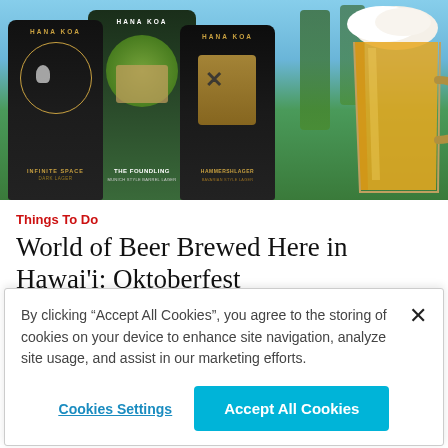[Figure (photo): Three Hana Koa brewery beer cans (Infinite Space Dark Lager, The Foundling Munich Style Barrel Lager, Hammershlager Bavarian Style Lager) with a full glass of golden beer on the right, outdoors with tropical greenery in background.]
Things To Do
World of Beer Brewed Here in Hawaiʼi: Oktoberfest
By clicking “Accept All Cookies”, you agree to the storing of cookies on your device to enhance site navigation, analyze site usage, and assist in our marketing efforts.
Cookies Settings
Accept All Cookies